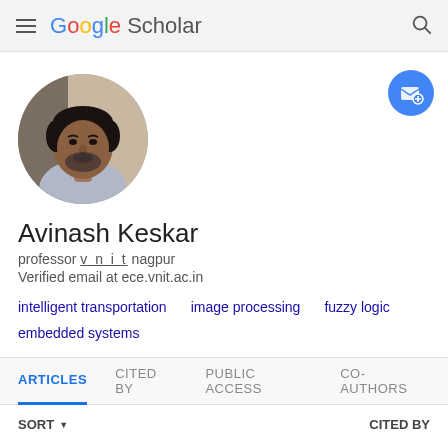Google Scholar
[Figure (photo): Circular profile photo of Avinash Keskar, a middle-aged man with short dark hair and beard, wearing a light shirt.]
Avinash Keskar
professor v n i t nagpur
Verified email at ece.vnit.ac.in
intelligent transportation
image processing
fuzzy logic
embedded systems
ARTICLES   CITED BY   PUBLIC ACCESS   CO-AUTHORS
SORT   CITED BY